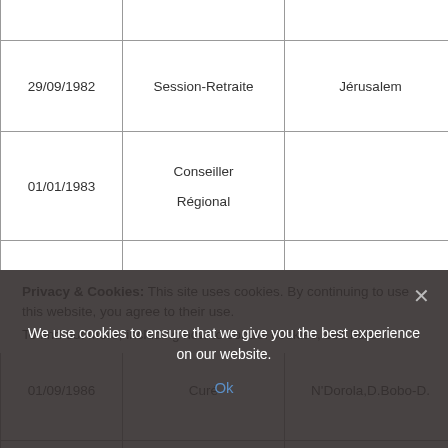| Date | Rôle | Lieu | Pays |
| --- | --- | --- | --- |
|  |  |  | Volta |
| 29/09/1982 | Session-Retraite | Jérusalem | Israël / Palestine |
| 01/01/1983 | Conseiller Régional |  | Haute Volta |
| 01/01/1983 | Vicaire | N'Dorola | Haute Volta |
| 01/09/1986 | Curé | N'Dorola,D.Bobo-D. | Burkina Faso |
| 06/08/1990 | Elu Conseiller Rég. |  | Burkina Faso |
|  |  |  | Burki... |
Privacy & Cookies: This site uses cookies. By continuing to use this website, you agree to their use.
To find out more, including how to control cookies, see here:
We use cookies to ensure that we give you the best experience on our website.
Ok